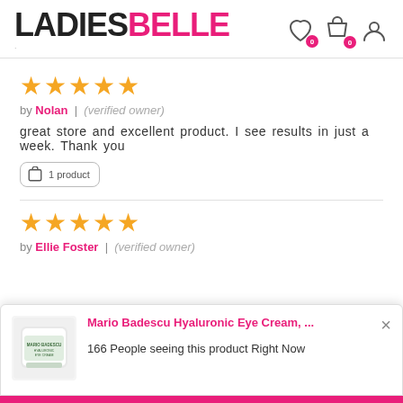LADIESBELLE
[Figure (other): Star rating: 5 stars (gold)]
by Nolan | (verified owner)
great store and excellent product. I see results in just a week. Thank you
1 product
[Figure (other): Star rating: 5 stars (gold)]
by Ellie Foster | (verified owner)
[Figure (other): Popup notification: Mario Badescu Hyaluronic Eye Cream product image with text: 166 People seeing this product Right Now]